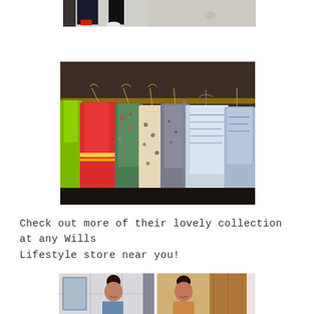[Figure (photo): Partial view of people's feet/legs standing on a light floor, cropped at top of frame]
[Figure (photo): Clothing rack with colorful Indian garments/kurtas hanging on hangers — red, floral green, spotted beige/grey, blue patterned — inside a Wills Lifestyle store]
Check out more of their lovely collection at any Wills Lifestyle store near you!
[Figure (photo): Two side-by-side photos of a woman (dark hair up) smiling, in what appears to be a fitting room or store interior — left photo in front of mirror, right photo in warm-lit room]